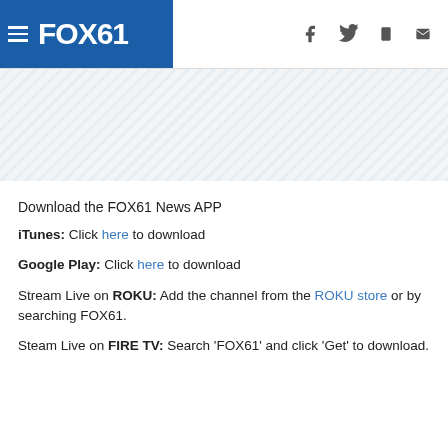FOX61 — navigation header with hamburger menu, FOX61 logo, and social icons (Facebook, Twitter, mobile, email)
[Figure (other): Diagonal striped banner / advertisement placeholder area]
Download the FOX61 News APP
iTunes: Click here to download
Google Play: Click here to download
Stream Live on ROKU: Add the channel from the ROKU store or by searching FOX61.
Steam Live on FIRE TV: Search 'FOX61' and click 'Get' to download.